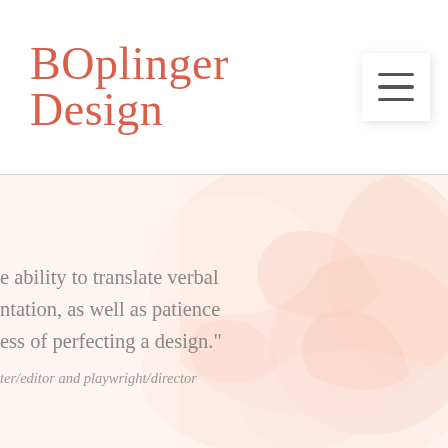BOplinger Design
[Figure (photo): Faded, washed-out background image of organic/floral shapes in warm peachy and cream tones, serving as a decorative hero background.]
e ability to translate verbal ntation, as well as patience ess of perfecting a design."
ter/editor and playwright/director